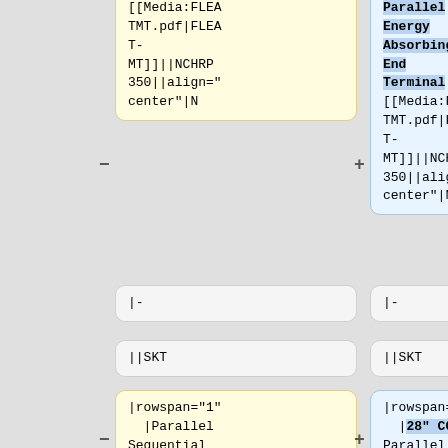TMT.pdf|FLEA T-MT]]||NCHRP 350||align="center"|N
Parallel Energy Absorbing End Terminal||[[Media:FLEATMT.pdf|FLEAT-MT]]||NCHRP 350||align="center"|N
|-
|-
||SKT
||SKT
|rowspan="1" |Parallel Sequential Kinking Terminal||[[Media:Gregory
|rowspan="1" |28" CGS Parallel, Sequential Kinking Terminal||[[Media:Greg